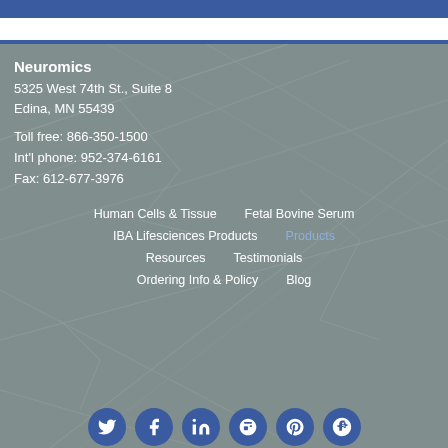Neuromics
5325 West 74th St., Suite 8
Edina, MN 55439
Toll free: 866-350-1500
Int'l phone: 952-374-6161
Fax: 612-677-3976
Human Cells & Tissue
Fetal Bovine Serum
IBA Lifesciences Products
Products
Resources
Testimonials
Ordering Info & Policy
Blog
[Figure (illustration): Row of social media icon buttons (Twitter, Facebook, LinkedIn, Blogger, Pinterest, Google+) in dark blue circles]